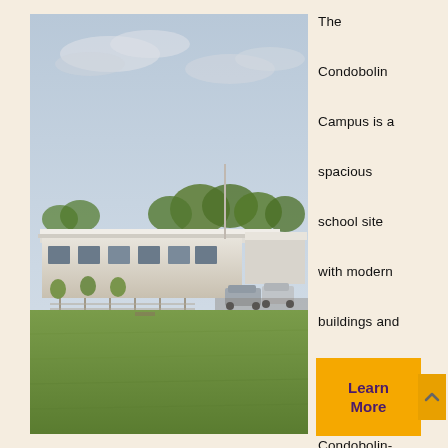[Figure (photo): Exterior photo of the Condobolin Campus school buildings with a large green oval/grass field in the foreground, school buildings with white roofs, trees in the background, parked cars, and an overcast sky.]
The Condobolin Campus is a spacious school site with modern buildings and large outdoor areas. Condobolin-commonly known as Condo, lies on
Learn More